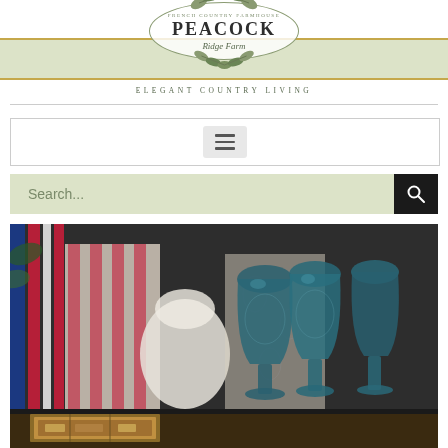[Figure (logo): Peacock Ridge Farm logo with oval border, decorative leaves, banner stripe in sage green with gold borders, text: FRENCH COUNTRY FARMHOUSE / PEACOCK / Ridge Farm / ELEGANT COUNTRY LIVING]
[Figure (screenshot): Website UI element: hamburger menu button (three horizontal lines) centered in a bordered rectangle on white background]
[Figure (screenshot): Website search bar with sage green background, placeholder text 'Search...' in muted green, and black search button with magnifying glass icon on the right]
[Figure (photo): Decorative shelf scene with American flag ribbons (red, white, blue) on left, striped red-and-white fabric, white ceramic bowl, blue-teal etched wine goblets on right, decorative toile fabric, antique books at bottom]